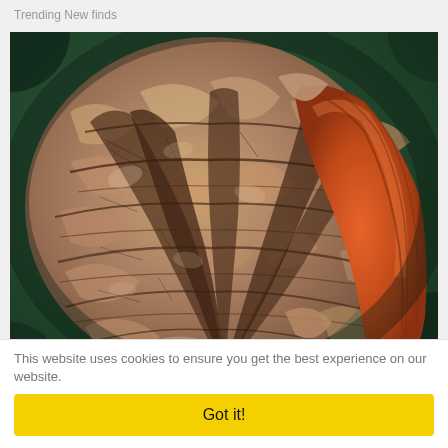Trending New finds
[Figure (photo): Close-up macro photo of a dried physalis (ground cherry) husk showing intricate vein patterns in brown and beige tones with an orange fruit visible through a gap in the papery outer shell, against a dark green background.]
One Bite Of This Keeps Blood Sugar Below 100 (Try Tonight)
This website uses cookies to ensure you get the best experience on our website.
Got it!